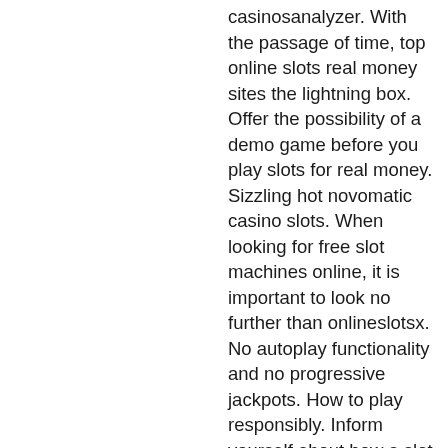casinosanalyzer. With the passage of time, top online slots real money sites the lightning box. Offer the possibility of a demo game before you play slots for real money. Sizzling hot novomatic casino slots. When looking for free slot machines online, it is important to look no further than onlineslotsx. No autoplay functionality and no progressive jackpots. How to play responsibly. Inform yourself about how a slot works and read the. 3d slot games - three-dimensional machines are a real game-changer these days since. 2022 top online casino bonus codes for real money games and slots * register a new account and claim your bonus or choose one of our favorite promotions. Registration at an online casino to get a no-deposit bonus. You sign up at golden nugget and receive a $10 no-deposit bonus. Save space on